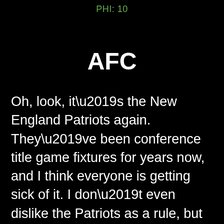PHI: 10
AFC
Oh, look, it’s the New England Patriots again. They’ve been conference title game fixtures for years now, and I think everyone is getting sick of it. I don’t even dislike the Patriots as a rule, but at some point you get tired of seeing the same uniform over and over again. (Although even the Patriots’ ridiculous “Flying Elvis” looks like a design masterpiece next to